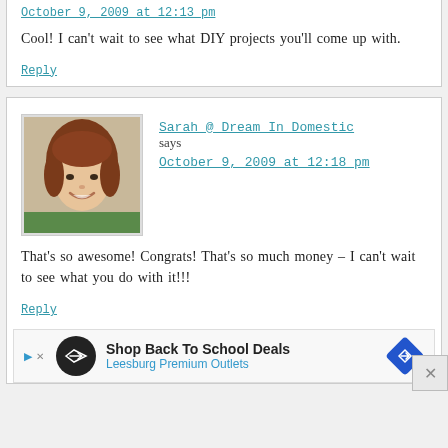October 9, 2009 at 12:13 pm
Cool! I can't wait to see what DIY projects you'll come up with.
Reply
Sarah @ Dream In Domestic says
October 9, 2009 at 12:18 pm
[Figure (photo): Avatar photo of Sarah, a woman with reddish-brown hair, smiling]
That's so awesome! Congrats! That's so much money – I can't wait to see what you do with it!!!
Reply
[Figure (infographic): Advertisement banner: Shop Back To School Deals – Leesburg Premium Outlets]